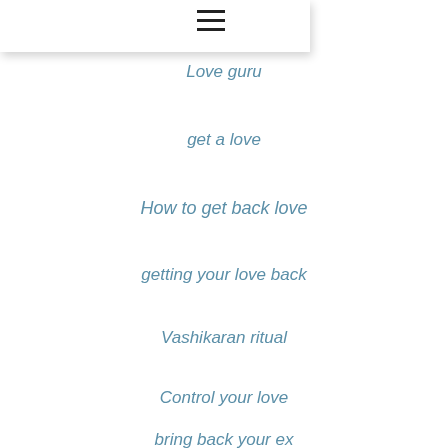☰
Love guru
get a love
How to get back love
getting your love back
Vashikaran ritual
Control your love
bring back your ex